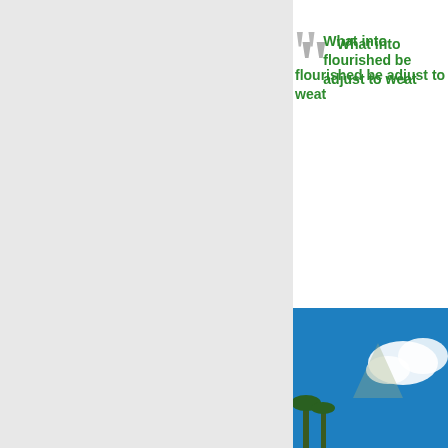[Figure (photo): A farmer in a pink shirt and straw hat bending over in a rice paddy field with green rice plants, blue sky and palm trees in the background.]
What into... flourished be... adjust to wea...
altogether because of c... survived, and, in some c... adjust to weather advers...